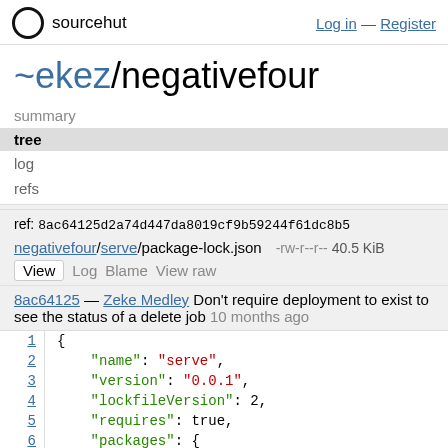sourcehut — Log in — Register
~ekez/negativefour
summary
tree
log
refs
ref: 8ac64125d2a74d447da8019cf9b59244f61dc8b5
negativefour/serve/package-lock.json   -rw-r--r--   40.5 KiB
View  Log  Blame  View raw
8ac64125 — Zeke Medley Don't require deployment to exist to see the status of a delete job  10 months ago
1  {
2      "name": "serve",
3      "version": "0.0.1",
4      "lockfileVersion": 2,
5      "requires": true,
6      "packages": {